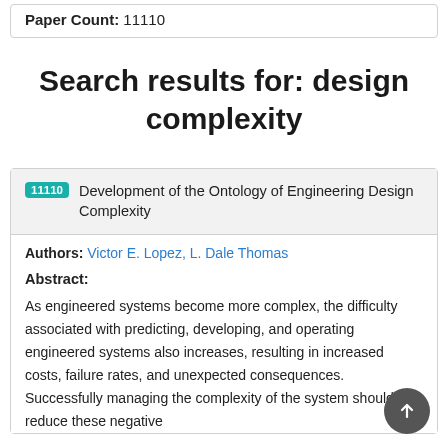Paper Count: 11110
Search results for: design complexity
11110 Development of the Ontology of Engineering Design Complexity
Authors: Victor E. Lopez, L. Dale Thomas
Abstract:
As engineered systems become more complex, the difficulty associated with predicting, developing, and operating engineered systems also increases, resulting in increased costs, failure rates, and unexpected consequences. Successfully managing the complexity of the system should reduce these negative